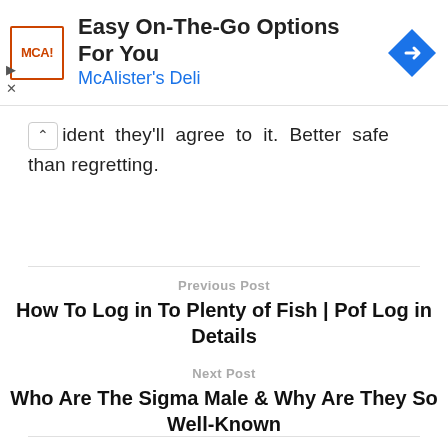[Figure (infographic): McAlister's Deli advertisement banner with logo, text 'Easy On-The-Go Options For You / McAlister's Deli', and a blue navigation arrow diamond icon]
ident they'll agree to it. Better safe than regretting.
Previous Post
How To Log in To Plenty of Fish | Pof Log in Details
Next Post
Who Are The Sigma Male & Why Are They So Well-Known